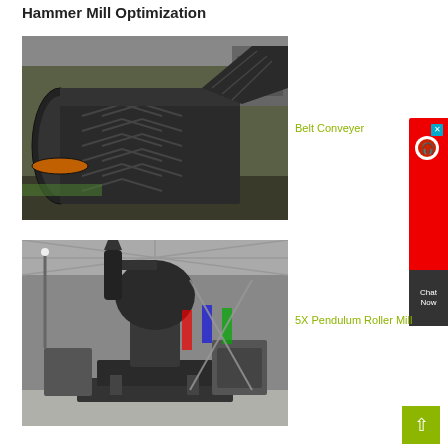Hammer Mill Optimization
[Figure (photo): Industrial belt conveyer system photographed in a warehouse/industrial setting showing rubber conveyor belts with chevron pattern]
Belt Conveyer
[Figure (photo): 5X Pendulum Roller Mill machine in an industrial factory floor setting]
5X Pendulum Roller Mill
[Figure (photo): Partial view of another industrial machine at bottom of page]